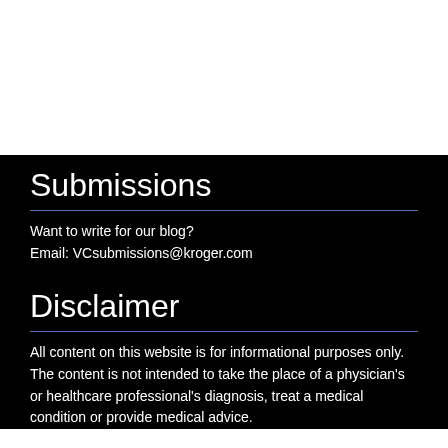Submissions
Want to write for our blog?
Email: VCsubmissions@kroger.com
Disclaimer
All content on this website is for informational purposes only. The content is not intended to take the place of a physician's or healthcare professional's diagnosis, treat a medical condition or provide medical advice.